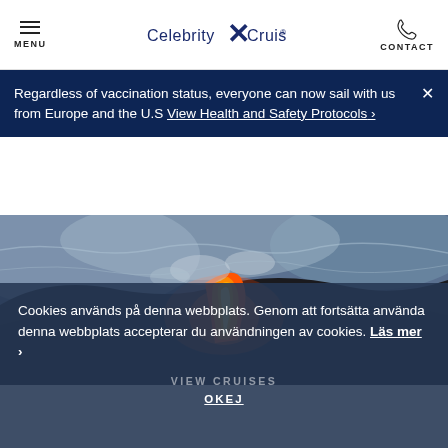MENU | Celebrity X Cruises® | CONTACT
Regardless of vaccination status, everyone can now sail with us from Europe and the U.S View Health and Safety Protocols ›
[Figure (photo): Close-up dramatic photo of glowing orange-red lava meeting ocean water with steam and dark rocky textures]
Cookies används på denna webbplats. Genom att fortsätta använda denna webbplats accepterar du användningen av cookies. Läs mer › OKEJ
VIEW CRUISES
OKEJ